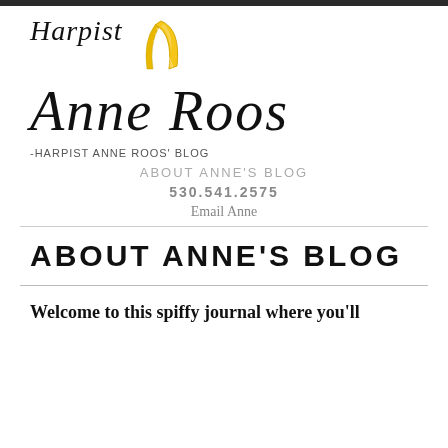[Figure (logo): Harpist Anne Roos logo with Celtic-style typography and a golden harp icon]
-HARPIST ANNE ROOS' BLOG
ABOUT ANNE'S BLOG
530.541.2575
Email Anne
ABOUT ANNE'S BLOG
Welcome to this spiffy journal where you'll